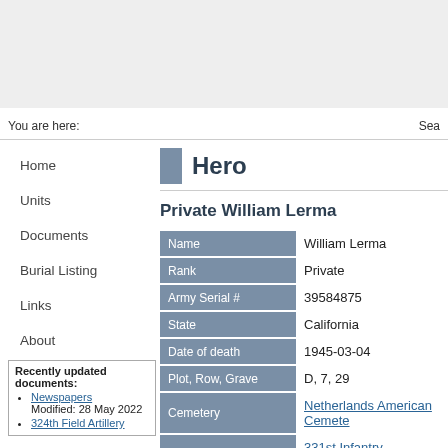You are here:
Sea
Home
Units
Documents
Burial Listing
Links
About
Recently updated documents: Newspapers Modified: 28 May 2022 324th Field Artillery
Hero
Private William Lerma
| Field | Value |
| --- | --- |
| Name | William Lerma |
| Rank | Private |
| Army Serial # | 39584875 |
| State | California |
| Date of death | 1945-03-04 |
| Plot, Row, Grave | D, 7, 29 |
| Cemetery | Netherlands American Cemete... |
| Unit | 331st Infantry Regiment, 83rd ... |